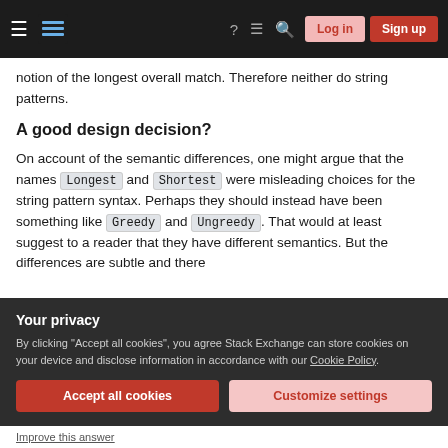Stack Exchange navigation bar with Log in and Sign up buttons
notion of the longest overall match. Therefore neither do string patterns.
A good design decision?
On account of the semantic differences, one might argue that the names Longest and Shortest were misleading choices for the string pattern syntax. Perhaps they should instead have been something like Greedy and Ungreedy. That would at least suggest to a reader that they have different semantics. But the differences are subtle and there
Your privacy
By clicking "Accept all cookies", you agree Stack Exchange can store cookies on your device and disclose information in accordance with our Cookie Policy.
Accept all cookies   Customize settings
Improve this answer